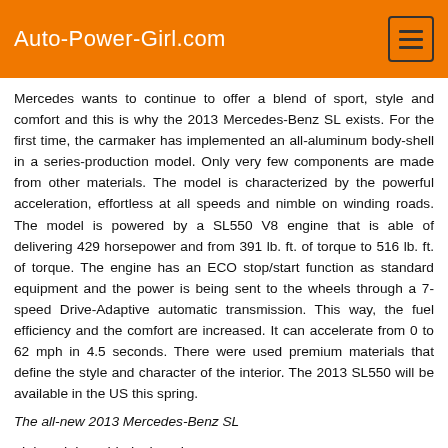Auto-Power-Girl.com
Mercedes wants to continue to offer a blend of sport, style and comfort and this is why the 2013 Mercedes-Benz SL exists. For the first time, the carmaker has implemented an all-aluminum body-shell in a series-production model. Only very few components are made from other materials. The model is characterized by the powerful acceleration, effortless at all speeds and nimble on winding roads. The model is powered by a SL550 V8 engine that is able of delivering 429 horsepower and from 391 lb. ft. of torque to 516 lb. ft. of torque. The engine has an ECO stop/start function as standard equipment and the power is being sent to the wheels through a 7-speed Drive-Adaptive automatic transmission. This way, the fuel efficiency and the comfort are increased. It can accelerate from 0 to 62 mph in 4.5 seconds. There were used premium materials that define the style and character of the interior. The 2013 SL550 will be available in the US this spring.
The all-new 2013 Mercedes-Benz SL
Lightweight, athletic, luxurious